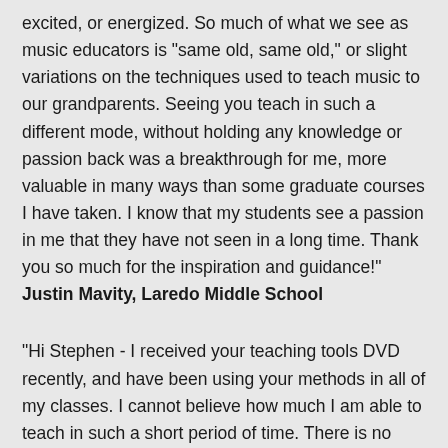excited, or energized. So much of what we see as music educators is "same old, same old," or slight variations on the techniques used to teach music to our grandparents. Seeing you teach in such a different mode, without holding any knowledge or passion back was a breakthrough for me, more valuable in many ways than some graduate courses I have taken. I know that my students see a passion in me that they have not seen in a long time. Thank you so much for the inspiration and guidance!" Justin Mavity, Laredo Middle School
"Hi Stephen - I received your teaching tools DVD recently, and have been using your methods in all of my classes. I cannot believe how much I am able to teach in such a short period of time. There is no way that there is a more efficient way to teach than your methods. I have always dreamed of the day when I